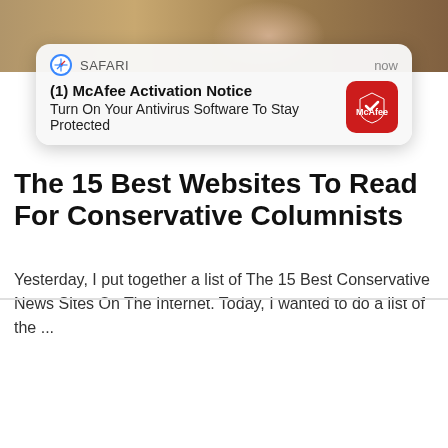[Figure (photo): Top partial photo showing a blurred background scene with warm tones]
[Figure (screenshot): iOS Safari push notification banner: '(1) McAfee Activation Notice — Turn On Your Antivirus Software To Stay Protected' with McAfee red icon, timestamp 'now']
The 15 Best Websites To Read For Conservative Columnists
Yesterday, I put together a list of The 15 Best Conservative News Sites On The Internet. Today, I wanted to do a list of the ...
[Figure (photo): Woman with braided hair holding a large bass fish, smiling, outdoors near a lake with blue sky and trees in background]